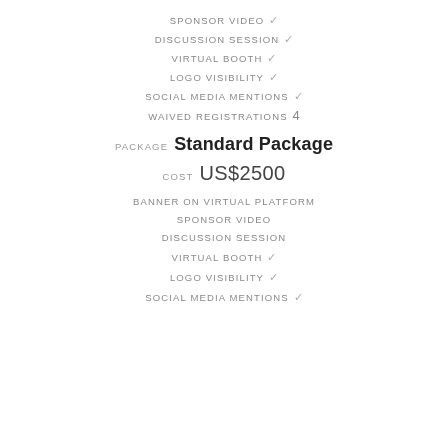SPONSOR VIDEO ✓
DISCUSSION SESSION ✓
VIRTUAL BOOTH ✓
LOGO VISIBILITY ✓
SOCIAL MEDIA MENTIONS ✓
WAIVED REGISTRATIONS 4
PACKAGE Standard Package
COST US$2500
BANNER ON VIRTUAL PLATFORM
SPONSOR VIDEO
DISCUSSION SESSION
VIRTUAL BOOTH ✓
LOGO VISIBILITY ✓
SOCIAL MEDIA MENTIONS ✓